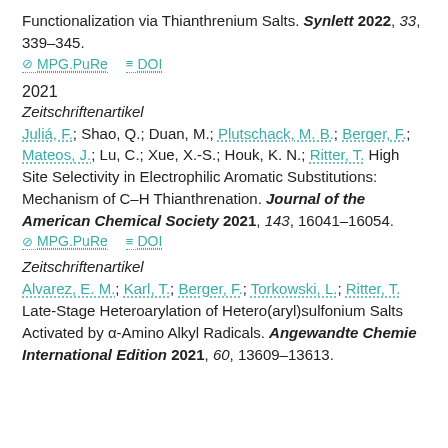Functionalization via Thianthrenium Salts. Synlett 2022, 33, 339–345.
⊘ MPG.PuRe  ≡ DOI
2021
Zeitschriftenartikel
Juliá, F.; Shao, Q.; Duan, M.; Plutschack, M. B.; Berger, F.; Mateos, J.; Lu, C.; Xue, X.-S.; Houk, K. N.; Ritter, T. High Site Selectivity in Electrophilic Aromatic Substitutions: Mechanism of C–H Thianthrenation. Journal of the American Chemical Society 2021, 143, 16041–16054.
⊘ MPG.PuRe  ≡ DOI
Zeitschriftenartikel
Alvarez, E. M.; Karl, T.; Berger, F.; Torkowski, L.; Ritter, T. Late-Stage Heteroarylation of Hetero(aryl)sulfonium Salts Activated by α-Amino Alkyl Radicals. Angewandte Chemie International Edition 2021, 60, 13609–13613.